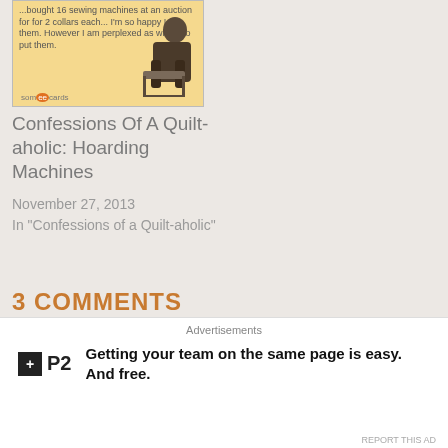[Figure (illustration): Someecards style card with vintage illustration of woman sitting at desk, text reading about buying sewing machines at auction for 2 collars each]
Confessions Of A Quilt-aholic: Hoarding Machines
November 27, 2013
In "Confessions of a Quilt-aholic"
3 COMMENTS
[Figure (logo): Green circular avatar/logo icon partially visible]
[Figure (infographic): Advertisement overlay: P2 logo with text 'Getting your team on the same page is easy. And free.' Close button (X) in top right]
Advertisements
Getting your team on the same page is easy. And free.
REPORT THIS AD